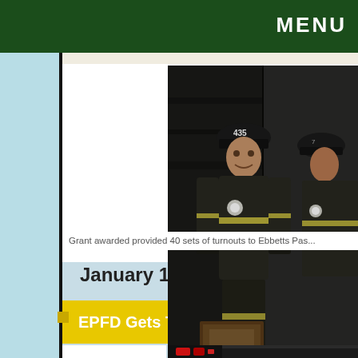MENU
[Figure (photo): Firefighters in turnout gear with helmets, one labeled 435, posing after a fire scene. Dark background showing fire damage.]
Grant awarded provided 40 sets of turnouts to Ebbetts Pass...
January 18, 2010
EPFD Gets Two New Utility Vehicles
[Figure (photo): Partial view of a fire vehicle or utility truck with red lights visible, photographed at night.]